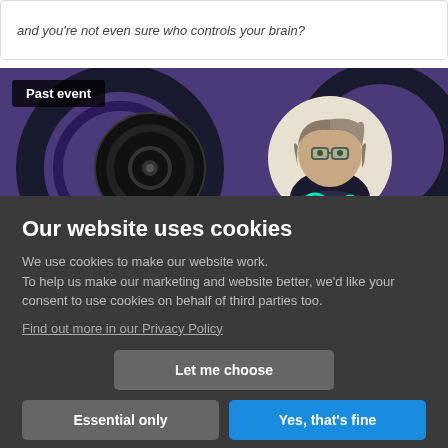and you're not even sure who controls your brain?
[Figure (illustration): Animated/comic-style illustration showing a character with glasses against a purple background with circular design elements. A 'Past event' badge is overlaid in the top-left corner.]
Our website uses cookies
We use cookies to make our website work. To help us make our marketing and website better, we'd like your consent to use cookies on behalf of third parties too.
Find out more in our Privacy Policy
Let me choose
Essential only
Yes, that's fine